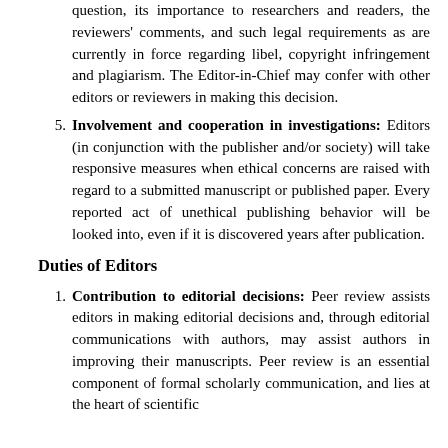question, its importance to researchers and readers, the reviewers' comments, and such legal requirements as are currently in force regarding libel, copyright infringement and plagiarism. The Editor-in-Chief may confer with other editors or reviewers in making this decision.
Involvement and cooperation in investigations: Editors (in conjunction with the publisher and/or society) will take responsive measures when ethical concerns are raised with regard to a submitted manuscript or published paper. Every reported act of unethical publishing behavior will be looked into, even if it is discovered years after publication.
Duties of Editors
Contribution to editorial decisions: Peer review assists editors in making editorial decisions and, through editorial communications with authors, may assist authors in improving their manuscripts. Peer review is an essential component of formal scholarly communication, and lies at the heart of scientific